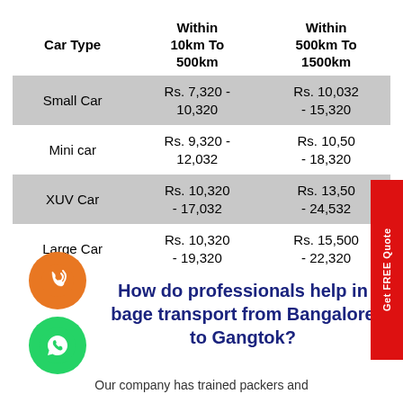| Car Type | Within 10km To 500km | Within 500km To 1500km |
| --- | --- | --- |
| Small Car | Rs. 7,320 - 10,320 | Rs. 10,032 - 15,320 |
| Mini car | Rs. 9,320 - 12,032 | Rs. 10,50 - 18,320 |
| XUV Car | Rs. 10,320 - 17,032 | Rs. 13,50 - 24,532 |
| Large Car | Rs. 10,320 - 19,320 | Rs. 15,500 - 22,320 |
How do professionals help in bage transport from Bangalore to Gangtok?
Our company has trained packers and